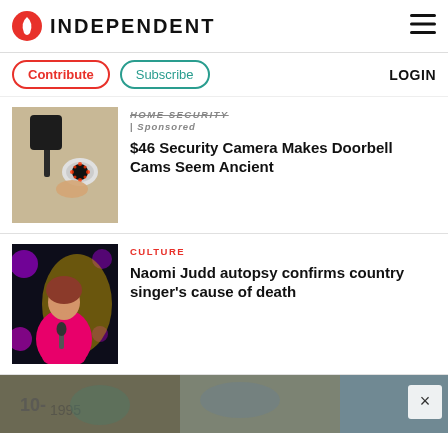INDEPENDENT
Contribute
Subscribe
LOGIN
HOME SECURITY | Sponsored
$46 Security Camera Makes Doorbell Cams Seem Ancient
CULTURE
Naomi Judd autopsy confirms country singer's cause of death
[Figure (photo): Security camera mounted on wall]
[Figure (photo): Naomi Judd performing on stage in pink outfit]
[Figure (photo): Graffiti wall advertisement strip with close button]